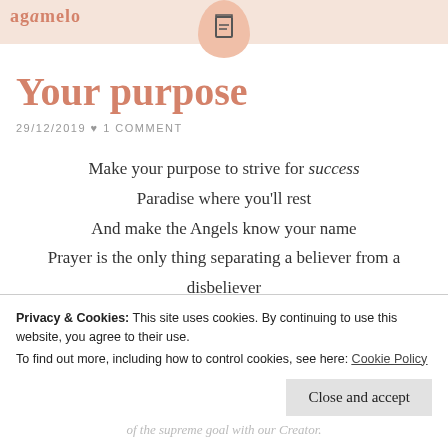Your purpose
29/12/2019 ♥ 1 COMMENT
Make your purpose to strive for success
Paradise where you'll rest
And make the Angels know your name
Prayer is the only thing separating a believer from a disbeliever
Fight the urge to fall in love with this worldly life
Privacy & Cookies: This site uses cookies. By continuing to use this website, you agree to their use.
To find out more, including how to control cookies, see here: Cookie Policy
Close and accept
of the supreme goal with our Creator.